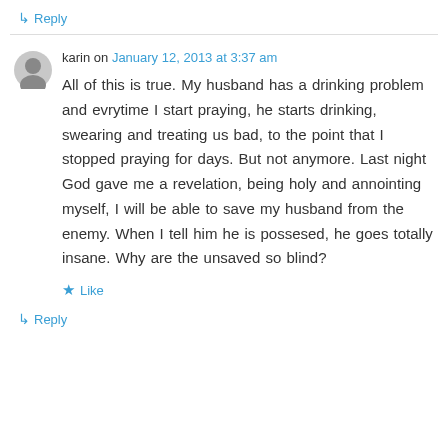↳ Reply
karin on January 12, 2013 at 3:37 am
All of this is true. My husband has a drinking problem and evrytime I start praying, he starts drinking, swearing and treating us bad, to the point that I stopped praying for days. But not anymore. Last night God gave me a revelation, being holy and annointing myself, I will be able to save my husband from the enemy. When I tell him he is possesed, he goes totally insane. Why are the unsaved so blind?
★ Like
↳ Reply